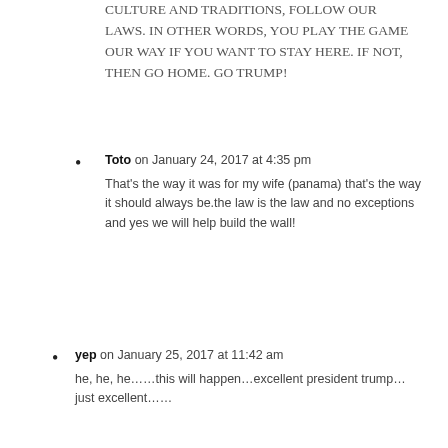CULTURE AND TRADITIONS, FOLLOW OUR LAWS. IN OTHER WORDS, YOU PLAY THE GAME OUR WAY IF YOU WANT TO STAY HERE. IF NOT, THEN GO HOME. GO TRUMP!
Toto on January 24, 2017 at 4:35 pm
That's the way it was for my wife (panama) that's the way it should always be.the law is the law and no exceptions and yes we will help build the wall!
yep on January 25, 2017 at 11:42 am
he, he, he…….this will happen…excellent president trump…just excellent……